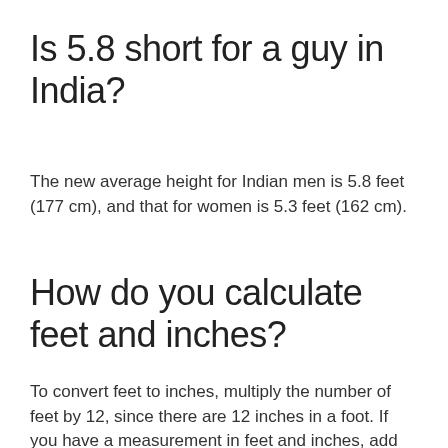Is 5.8 short for a guy in India?
The new average height for Indian men is 5.8 feet (177 cm), and that for women is 5.3 feet (162 cm).
How do you calculate feet and inches?
To convert feet to inches, multiply the number of feet by 12, since there are 12 inches in a foot. If you have a measurement in feet and inches, add the number of inches to the answer after multiplying